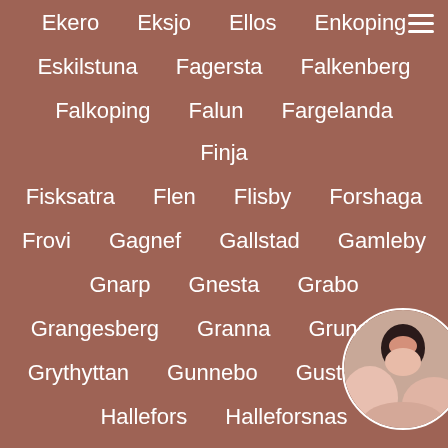Ekero Eksjo Ellos Enkoping
Eskilstuna Fagersta Falkenberg
Falkoping Falun Fargelanda Finja
Fisksatra Flen Flisby Forshaga
Frovi Gagnef Gallstad Gamleby
Gnarp Gnesta Grabo
Grangesberg Granna Grundsund
Grythyttan Gunnebo Gustavsberg
Hallefors Halleforsnas
Hallevik Hallstavik Hamb...
Hammarstrand Harnosand Hanyaa
[Figure (photo): Circular avatar photo of a dark-haired woman, partially cropped, in the bottom right corner]